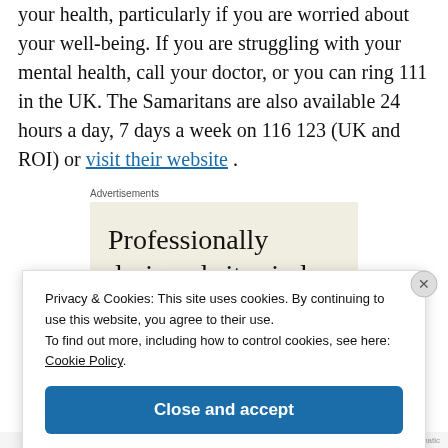your health, particularly if you are worried about your well-being. If you are struggling with your mental health, call your doctor, or you can ring 111 in the UK. The Samaritans are also available 24 hours a day, 7 days a week on 116 123 (UK and ROI) or visit their website .
Advertisements
[Figure (other): Advertisement banner with text: Professionally designed sites in less]
Privacy & Cookies: This site uses cookies. By continuing to use this website, you agree to their use.
To find out more, including how to control cookies, see here: Cookie Policy.
Close and accept
Automatic